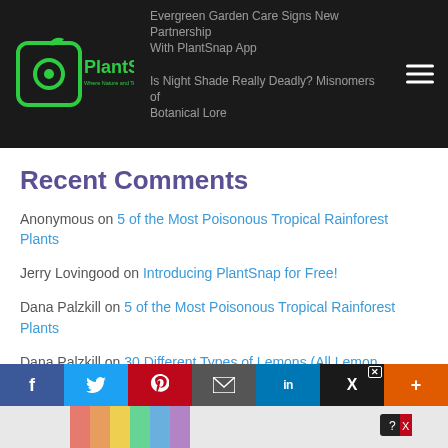PlantSnap — Where Nature and Technology Live in Harmony
Recent Comments
Anonymous on 5 of the Most Poisonous Tropical Rainforest Plants
Jerry Lovingood on Introducing PlantSnap for Free!
Dana Palzkill on 5 of the Most Poisonous Tropical Rainforest Plants
Dana Palzkill on 30 Different Types of Lemons (All Lemon Varieties)
Dana Palzkill on Do All Plants Use Photosynthesis?
Social share bar: Facebook, Twitter, Pinterest, Email, LinkedIn, X, More